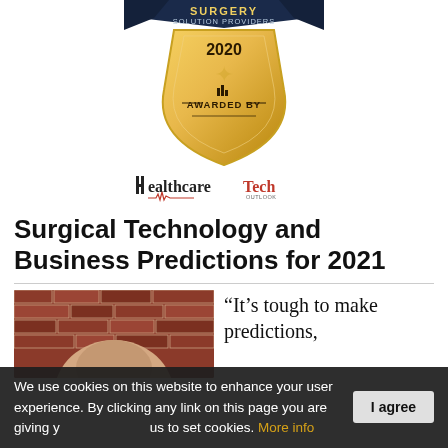[Figure (logo): Surgery Solution Providers 2020 gold shield award badge with ribbon, awarded by Healthcare Tech Outlook]
[Figure (logo): Healthcare Tech Outlook logo with red and black text and waveform graphic]
Surgical Technology and Business Predictions for 2021
[Figure (photo): Photo of a person in front of a red brick wall, partially cropped showing top of head]
“It’s tough to make predictions,
We use cookies on this website to enhance your user experience. By clicking any link on this page you are giving your consent for us to set cookies. More info